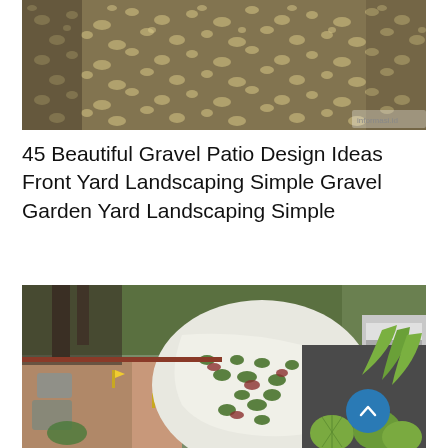[Figure (photo): Aerial/close-up view of gravel and stones used in a garden patio design, with small rocks and pebbles visible in detail.]
45 Beautiful Gravel Patio Design Ideas Front Yard Landscaping Simple Gravel Garden Yard Landscaping Simple
[Figure (photo): A landscaped front yard featuring a winding gravel path with stepping stones on the left, a curved white gravel bed filled with succulents and low plants in the center, and dark gravel areas with barrel cacti and agave plants on the right and foreground. Trees and a vehicle are visible in the background. A circular blue scroll-to-top button appears in the bottom right corner.]